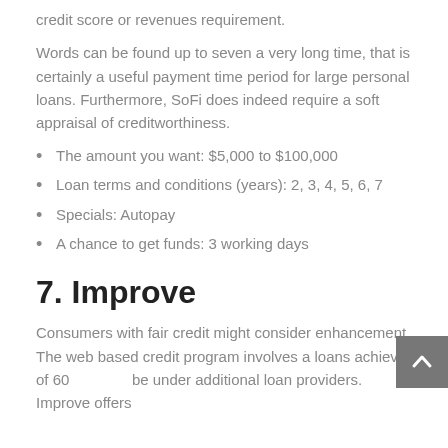credit score or revenues requirement.
Words can be found up to seven a very long time, that is certainly a useful payment time period for large personal loans. Furthermore, SoFi does indeed require a soft appraisal of creditworthiness.
The amount you want: $5,000 to $100,000
Loan terms and conditions (years): 2, 3, 4, 5, 6, 7
Specials: Autopay
A chance to get funds: 3 working days
7. Improve
Consumers with fair credit might consider enhancement. The web based credit program involves a loans achieve of 60... be under additional loan providers. Improve offers